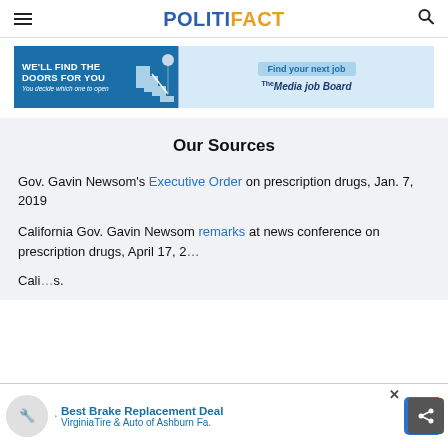POLITIFACT
[Figure (other): Advertisement banner: 'WE'LL FIND THE DOORS FOR YOU - You decide which one to open' with Media Job Board logo and 'Find your next job' button]
Our Sources
Gov. Gavin Newsom's Executive Order on prescription drugs, Jan. 7, 2019
California Gov. Gavin Newsom remarks at news conference on prescription drugs, April 17, 2...
Cali...s.
[Figure (other): Bottom advertisement overlay: Best Brake Replacement Deal - Virginia Tire & Auto of Ashburn Fa.]